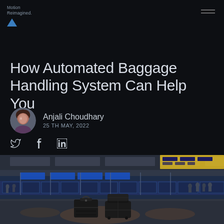Motion Reimagined.
How Automated Baggage Handling System Can Help You
Anjali Choudhary
25TH MAY, 2022
[Figure (illustration): Social media share icons: Twitter bird, Facebook f, LinkedIn in]
[Figure (photo): Airport terminal interior with check-in counters, passengers, blue signage, and luggage/bags in foreground on polished floor]